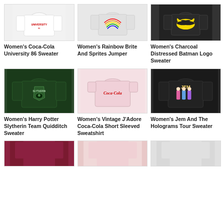[Figure (photo): Women's Coca-Cola University 86 Sweater - white long sleeve]
Women's Coca-Cola University 86 Sweater
[Figure (photo): Women's Rainbow Brite And Sprites Jumper - grey with colorful print]
Women's Rainbow Brite And Sprites Jumper
[Figure (photo): Women's Charcoal Distressed Batman Logo Sweater - dark with batman logo]
Women's Charcoal Distressed Batman Logo Sweater
[Figure (photo): Women's Harry Potter Slytherin Team Quidditch Sweater - dark green]
Women's Harry Potter Slytherin Team Quidditch Sweater
[Figure (photo): Women's Vintage J'Adore Coca-Cola Short Sleeved Sweatshirt - pink]
Women's Vintage J'Adore Coca-Cola Short Sleeved Sweatshirt
[Figure (photo): Women's Jem And The Holograms Tour Sweater - black]
Women's Jem And The Holograms Tour Sweater
[Figure (photo): Partial view of a dark red/maroon sweater]
[Figure (photo): Partial view of a light pink patterned item]
[Figure (photo): Partial view of a grey/white sweater]